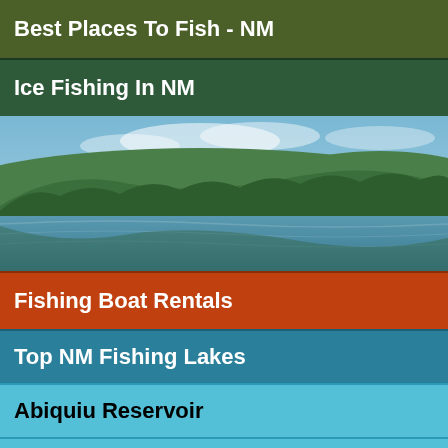Best Places To Fish - NM
Ice Fishing In NM
[Figure (photo): Scenic lake surrounded by dense green forested hills with calm reflective water and partly cloudy sky]
Fishing Boat Rentals
Top NM Fishing Lakes
Abiquiu Reservoir
Brantley Lake